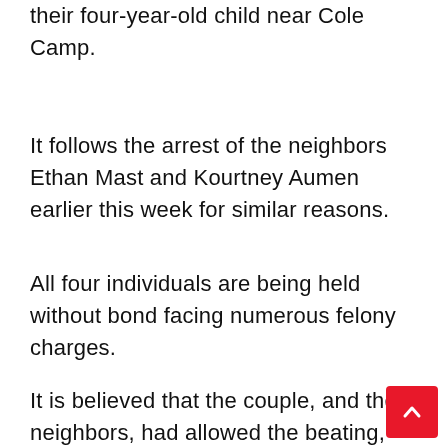their four-year-old child near Cole Camp.
It follows the arrest of the neighbors Ethan Mast and Kourtney Aumen earlier this week for similar reasons.
All four individuals are being held without bond facing numerous felony charges.
It is believed that the couple, and the neighbors, had allowed the beating, assaults and other crimes against the family and the children for more than 2 weeks prior to the murder because